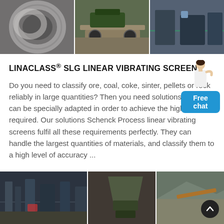[Figure (photo): Three industrial machinery photos side by side: left shows a large metal ring/gear, center shows a green mobile jaw crusher with aggregate material, right shows industrial processing equipment in a factory.]
LINACLASS® SLG LINEAR VIBRATING SCREEN
Do you need to classify ore, coal, coke, sinter, pellets or rock reliably in large quantities? Then you need solutions which can be specially adapted in order to achieve the high quality required. Our solutions Schenck Process linear vibrating screens fulfil all these requirements perfectly. They can handle the largest quantities of materials, and classify them to a high level of accuracy ...
[Figure (illustration): Free chat widget with a woman figure pointing and a blue button labeled 'Free chat']
[Figure (photo): Two industrial plant/factory interior photos and one outdoor aggregate/quarry site photo at the bottom of the page, partially visible.]